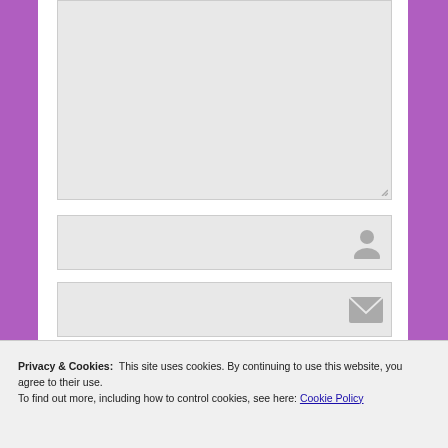[Figure (screenshot): Large light-gray textarea input box with a resize handle in the bottom-right corner]
[Figure (screenshot): Light-gray single-line text input box with a person/user icon on the right side]
[Figure (screenshot): Light-gray single-line email input box with an envelope icon on the right side]
Privacy & Cookies:  This site uses cookies. By continuing to use this website, you agree to their use.
To find out more, including how to control cookies, see here: Cookie Policy
Close and accept